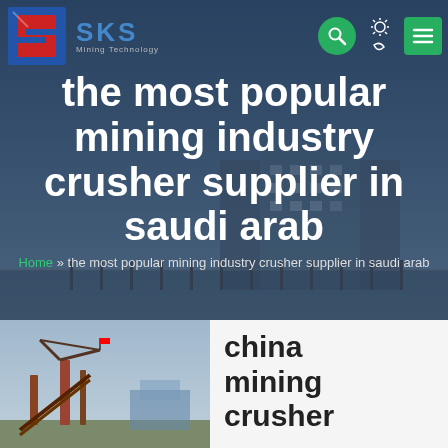SKS Mining Technology
the most popular mining industry crusher supplier in saudi arab
Home » the most popular mining industry crusher supplier in saudi arab
[Figure (photo): Mining crusher machinery equipment photo, outdoor setting with red/industrial equipment visible]
china mining crusher